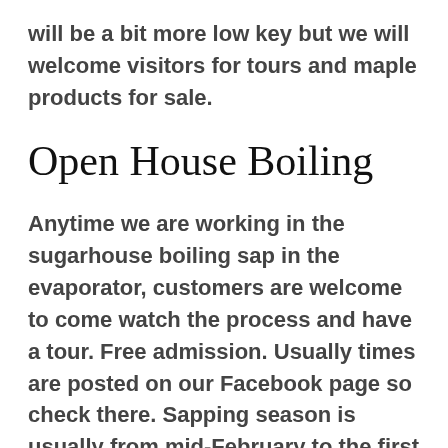will be a bit more low key but we will welcome visitors for tours and maple products for sale.
Open House Boiling
Anytime we are working in the sugarhouse boiling sap in the evaporator, customers are welcome to come watch the process and have a tour. Free admission. Usually times are posted on our Facebook page so check there. Sapping season is usually from mid-February to the first week of April, but it could be anything thereabouts! These dates are spontaneous because the sap run